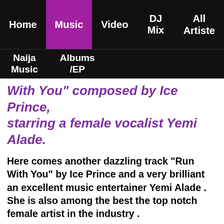Home | Music | Video | DJ Mix | All Artiste | Naija Music | Albums/EP
With You" composed by Ice Prince, starring a female vocalist Yemi Alade.
Here comes another dazzling track "Run With You" by Ice Prince and a very brilliant an excellent music entertainer Yemi Alade . She is also among the best the top notch female artist in the industry .
Ice Prince unleashed this spectacular harmony captioned "Run With You " with a Nigerian talented Afropop singer Yemi Alade for the listening pleasures of his fans and supporters. This is the 17th track on his third studio album tagged